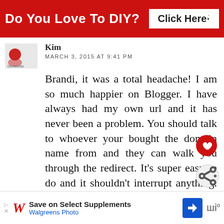Do You Love To DIY? Click Here! ×
Kim
MARCH 3, 2015 AT 9:41 PM
Brandi, it was a total headache! I am so much happier on Blogger. I have always had my own url and it has never been a problem. You should talk to whoever your bought the domain name from and they can walk you through the redirect. It's super easy to do and it shouldn't interrupt anything. Good luck!
Save on Select Supplements Walgreens Photo